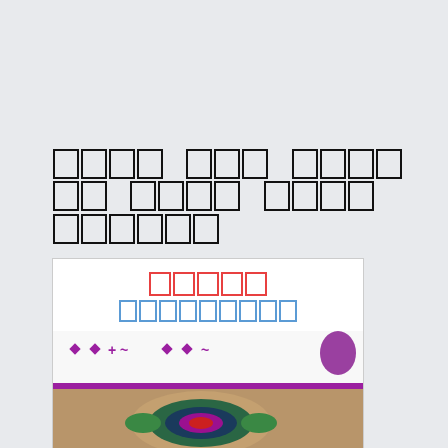□□□□ □□□ □□□□□□ □□□□ □□□□ □□□□□□
[Figure (photo): A product or book cover image showing decorative/ethnic pattern artwork with purple and multicolor design elements. Header text in red and blue characters above the image.]